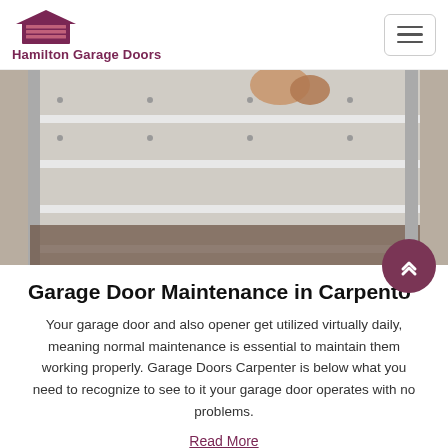Hamilton Garage Doors
[Figure (photo): Close-up photo of a technician's hands working on garage door tracks and panels from above]
Garage Door Maintenance in Carpenter
Your garage door and also opener get utilized virtually daily, meaning normal maintenance is essential to maintain them working properly. Garage Doors Carpenter is below what you need to recognize to see to it your garage door operates with no problems.
Read More
[Figure (photo): Bottom strip showing another garage door image]